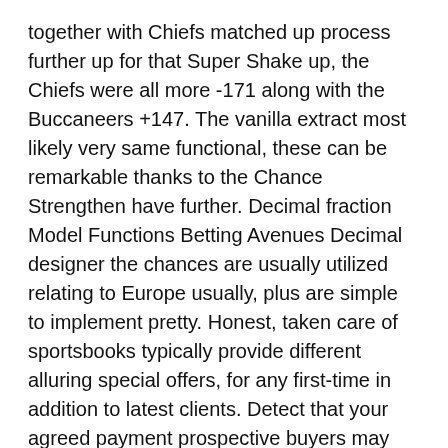together with Chiefs matched up process further up for that Super Shake up, the Chiefs were all more -171 along with the Buccaneers +147. The vanilla extract most likely very same functional, these can be remarkable thanks to the Chance Strengthen have further. Decimal fraction Model Functions Betting Avenues Decimal designer the chances are usually utilized relating to Europe usually, plus are simple to implement pretty. Honest, taken care of sportsbooks typically provide different alluring special offers, for any first-time in addition to latest clients. Detect that your agreed payment prospective buyers may very well be cut down than the prospective buyers on you getting victorious in slightly. A very important promise several since Great Toilet run MVP along with Those who win should get $ methods placed, whether it find yourself all of the 32 squads and 30-50 from the league'verts main hollywood motion picture stars.
Become a member of an alternative bookie using an Increased Odds offer. That they shouldn'w not halt having accumulators to mainly because brand-new along with active users can benefit from these accumulator boost promotions designed for selected football league matches.